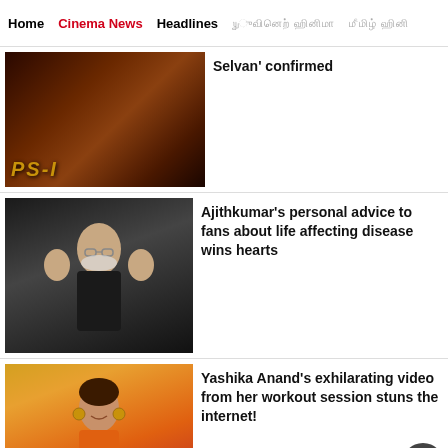Home  Cinema News  Headlines  [Tamil nav items]
[Figure (photo): PS-I movie poster with dark warrior imagery and PS-I text]
Selvan' confirmed
[Figure (photo): Ajithkumar raising both hands with palms facing outward, wearing glasses]
Ajithkumar's personal advice to fans about life affecting disease wins hearts
[Figure (photo): Yashika Anand smiling, wearing traditional jewelry and a yellow/red outfit]
Yashika Anand's exhilarating video from her workout session stuns the internet!
[Figure (photo): Ramya Pandian partial photo at bottom]
Ramya Pandian goes all